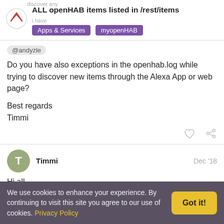ALL openHAB items listed in /rest/items
Apps & Services  myopenHAB
@andyzle
Do you have also exceptions in the openhab.log while trying to discover new items through the Alexa App or web page?
Best regards
Timmi
Timmi  Dec '18
Hi all,
We use cookies to enhance your experience. By continuing to visit this site you agree to our use of cookies. Privacy Policy